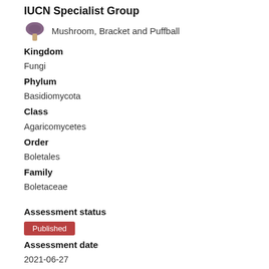IUCN Specialist Group
Mushroom, Bracket and Puffball
Kingdom
Fungi
Phylum
Basidiomycota
Class
Agaricomycetes
Order
Boletales
Family
Boletaceae
Assessment status
Published
Assessment date
2021-06-27
IUCN Red List Category
NT
Assessors